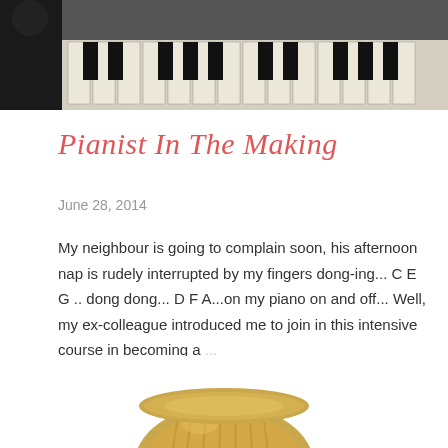[Figure (photo): Top portion of a photo showing piano keys and a dark figure (person) at left, and a lighter figure at right edge. Piano keyboard visible in the middle.]
Pianist In The Making
June 28, 2014
My neighbour is going to complain soon, his afternoon nap is rudely interrupted by my fingers dong-ing... C E G .. dong dong... D F A...on my piano on and off... Well, my ex-colleague introduced me to join in this intensive course in becoming a ...
SHARE   26 COMMENTS   READ MORE
[Figure (photo): Bottom portion showing a gold-colored rounded object (appears to be a trophy or decorative item) on white background.]